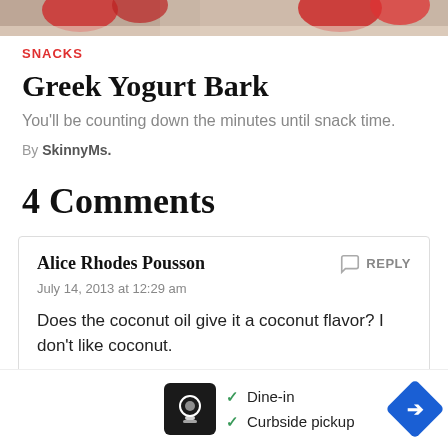[Figure (photo): Top portion of a food photo showing what appears to be Greek yogurt bark with strawberries, partially cropped]
SNACKS
Greek Yogurt Bark
You'll be counting down the minutes until snack time.
By SkinnyMs.
4 Comments
Alice Rhodes Pousson
July 14, 2013 at 12:29 am
Does the coconut oil give it a coconut flavor? I don't like coconut.
Ski
July 14, 2013 at 7:46 am
[Figure (screenshot): Advertisement overlay showing restaurant options: Dine-in and Curbside pickup with a navigation arrow icon]